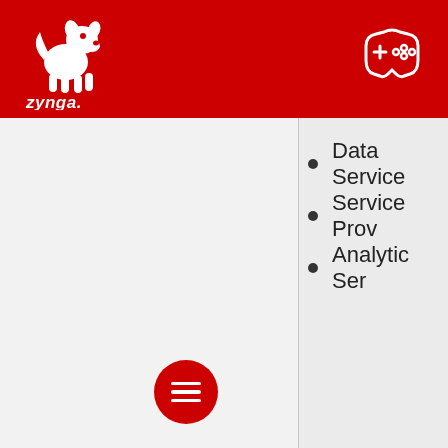[Figure (logo): Zynga logo with white dog silhouette and 'zynga.' text on red header background]
[Figure (illustration): White game controller/gamepad icon on red header background, top right]
Data Service
Service Prov
Analytic Ser
[Figure (illustration): Red circular FAB button with three white horizontal lines (hamburger menu icon)]